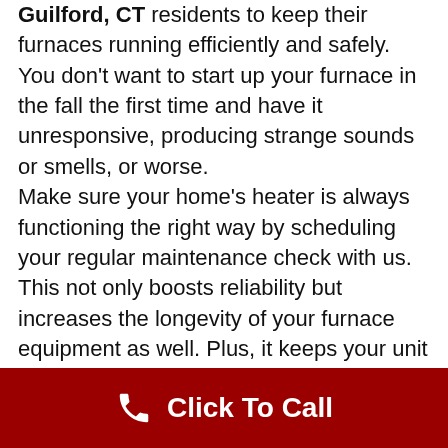Guilford, CT residents to keep their furnaces running efficiently and safely. You don't want to start up your furnace in the fall the first time and have it unresponsive, producing strange sounds or smells, or worse. Make sure your home's heater is always functioning the right way by scheduling your regular maintenance check with us. This not only boosts reliability but increases the longevity of your furnace equipment as well. Plus, it keeps your unit running smoothly. If left unchecked, your filters, vents, connections, and other parts can get jammed, leading to reduced airflow, your
Click To Call